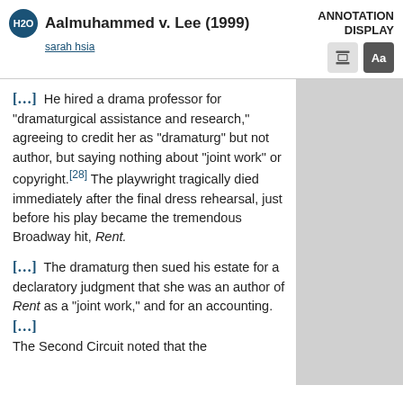Aalmuhammed v. Lee (1999) — ANNOTATION DISPLAY — sarah hsia
[...] He hired a drama professor for "dramaturgical assistance and research," agreeing to credit her as "dramaturg" but not author, but saying nothing about "joint work" or copyright.[28] The playwright tragically died immediately after the final dress rehearsal, just before his play became the tremendous Broadway hit, Rent.
[...] The dramaturg then sued his estate for a declaratory judgment that she was an author of Rent as a "joint work," and for an accounting. [...] The Second Circuit noted that the